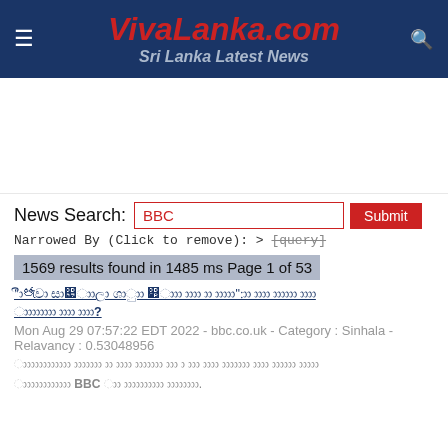VivaLanka.com Sri Lanka Latest News
[Figure (other): Advertisement area (blank white space)]
News Search: BBC  Submit
Narrowed By (Click to remove): > [query]
1569 results found in 1485 ms Page 1 of 53
Sinhala article title link (non-Latin script)
Mon Aug 29 07:57:22 EDT 2022 - bbc.co.uk - Category : Sinhala - Relavancy : 0.53048956
Sinhala article snippet (non-Latin script)
Sinhala article snippet line 2 with BBC in bold (non-Latin script)